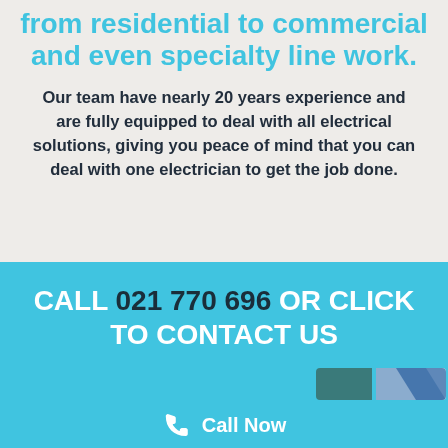from residential to commercial and even specialty line work.
Our team have nearly 20 years experience and are fully equipped to deal with all electrical solutions, giving you peace of mind that you can deal with one electrician to get the job done.
CALL 021 770 696 OR CLICK TO CONTACT US
Call Now